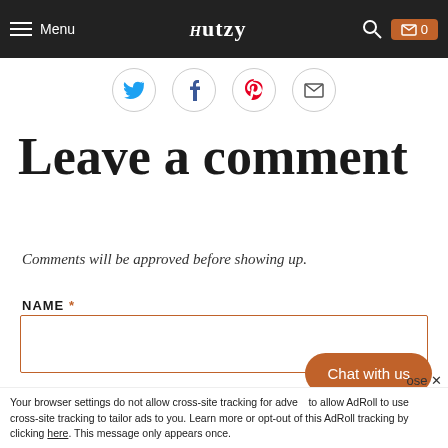Menu | Hutzy | [search] | 0
[Figure (illustration): Social sharing icons row: Twitter (blue bird), Facebook (blue f), Pinterest (red P), Email (envelope)]
Leave a comment
Comments will be approved before showing up.
NAME *
[Figure (screenshot): Empty text input field for Name]
EMAIL *
Chat with us
Your browser settings do not allow cross-site tracking for advertising, which means we are unable to allow AdRoll to use cross-site tracking to tailor ads to you. Learn more or opt-out of this AdRoll tracking by clicking here. This message only appears once.